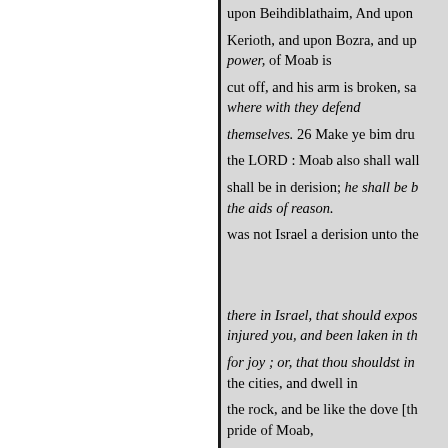upon Beihdiblathaim, And upon Kerioth, and upon Bozra, and up power, of Moab is cut off, and his arm is broken, sa where with they defend themselves. 26 Make ye bim dru the LORD : Moab also shall wall shall be in derision; he shall be b the aids of reason. was not Israel a derision unto the there in Israel, that should expos injured you, and been laken in th for joy ; or, that thou shouldst in the cities, and dwell in the rock, and be like the dove [th pride of Moab, (he is exceeding proud, this is loftiness, and his arrogancy and